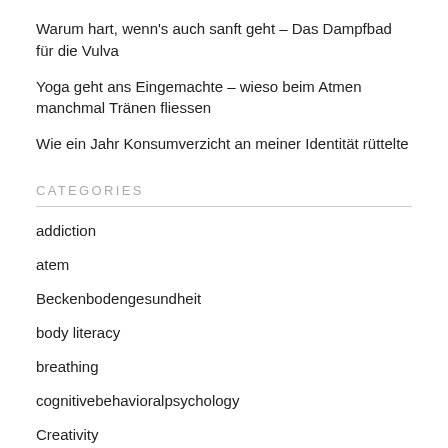Warum hart, wenn's auch sanft geht – Das Dampfbad für die Vulva
Yoga geht ans Eingemachte – wieso beim Atmen manchmal Tränen fliessen
Wie ein Jahr Konsumverzicht an meiner Identität rüttelte
CATEGORIES
addiction
atem
Beckenbodengesundheit
body literacy
breathing
cognitivebehavioralpsychology
Creativity